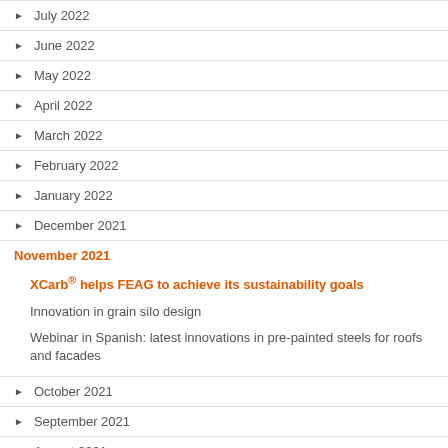July 2022
June 2022
May 2022
April 2022
March 2022
February 2022
January 2022
December 2021
November 2021 (expanded): XCarb® helps FEAG to achieve its sustainability goals | Innovation in grain silo design | Webinar in Spanish: latest innovations in pre-painted steels for roofs and facades
October 2021
September 2021
August 2021
July 2021
June 2021
May 2021